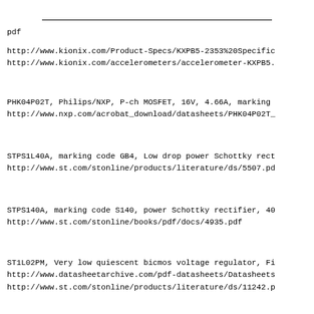pdf
http://www.kionix.com/Product-Specs/KXPB5-2353%20Specific
http://www.kionix.com/accelerometers/accelerometer-KXPB5.
PHK04P02T, Philips/NXP, P-ch MOSFET, 16V, 4.66A, marking
http://www.nxp.com/acrobat_download/datasheets/PHK04P02T_
STPS1L40A, marking code GB4, Low drop power Schottky rect
http://www.st.com/stonline/products/literature/ds/5507.pd
STPS140A, marking code S140, power Schottky rectifier, 40
http://www.st.com/stonline/books/pdf/docs/4935.pdf
ST1L02PM, Very low quiescent bicmos voltage regulator, Fi
http://www.datasheetarchive.com/pdf-datasheets/Datasheets
http://www.st.com/stonline/products/literature/ds/11242.p